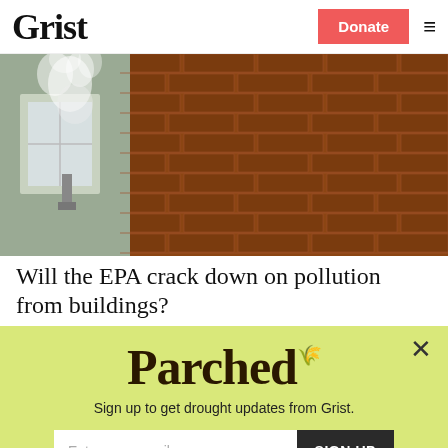Grist | Donate | Navigation menu
[Figure (photo): Photo of smoke or steam rising from a brick building wall, close-up of red brick texture with white smoke/steam.]
Will the EPA crack down on pollution from buildings?
Emily Pontecorvo
[Figure (infographic): Parched newsletter signup popup with light yellow-green background. Contains 'Parched' logo text, 'Sign up to get drought updates from Grist.' subtitle, email input field with SIGN UP button, and 'No thanks' link.]